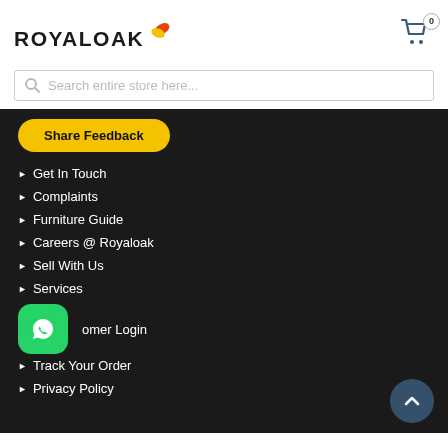[Figure (logo): Royaloak logo with leaf icon in orange and yellow]
[Figure (illustration): Shopping cart icon with badge showing 0]
Search entire store here...
Share Feedback
Get In Touch
Complaints
Furniture Guide
Careers @ Royaloak
Sell With Us
Services
[Figure (illustration): WhatsApp green icon button]
Customer Login
Track Your Order
Privacy Policy
[Figure (illustration): Scroll to top arrow button in dark blue circle]